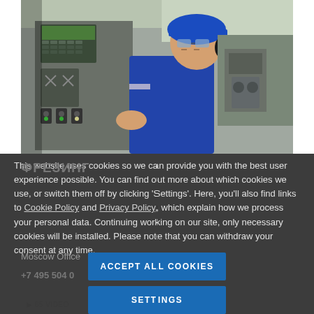[Figure (photo): Industrial worker in blue hard hat, safety glasses, and ear protection operating a control panel with buttons and indicators in a factory/plant setting.]
This website uses cookies so we can provide you with the best user experience possible. You can find out more about which cookies we use, or switch them off by clicking ‘Settings’. Here, you’ll also find links to Cookie Policy and Privacy Policy, which explain how we process your personal data. Continuing working on our site, only necessary cookies will be installed. Please note that you can withdraw your consent at any time.
ACCEPT ALL COOKIES
SETTINGS
Moscow Office
+7 495 504 0